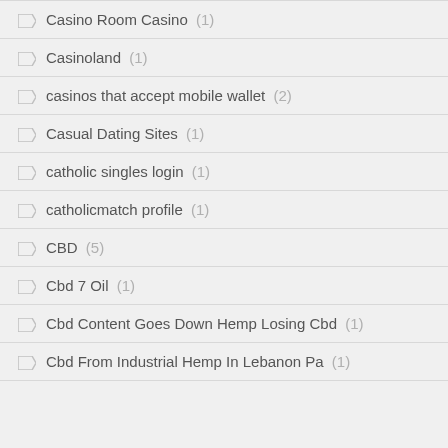Casino Room Casino (1)
Casinoland (1)
casinos that accept mobile wallet (2)
Casual Dating Sites (1)
catholic singles login (1)
catholicmatch profile (1)
CBD (5)
Cbd 7 Oil (1)
Cbd Content Goes Down Hemp Losing Cbd (1)
Cbd From Industrial Hemp In Lebanon Pa (1)